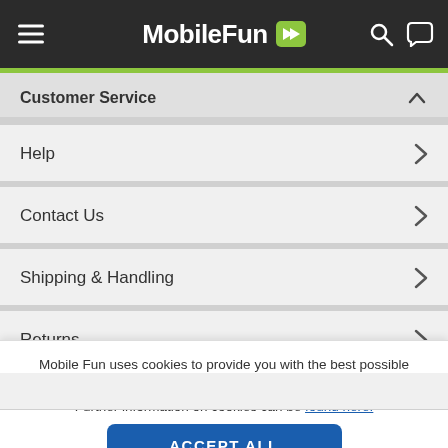MobileFun
Customer Service
Help
Contact Us
Shipping & Handling
Returns
Site Information
Mobile Fun uses cookies to provide you with the best possible shopping experience.
Further information on cookies can be found here.
ACCEPT ALL